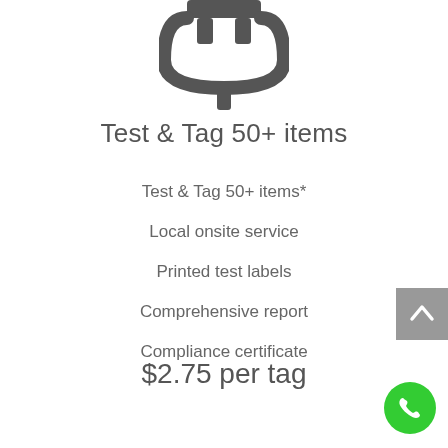[Figure (illustration): A plug/connector icon in dark gray, showing a rectangular top with two prongs and a curved bottom connector shape, centered at the top of the page]
Test & Tag 50+ items
Test & Tag 50+ items*
Local onsite service
Printed test labels
Comprehensive report
Compliance certificate
$2.75 per tag